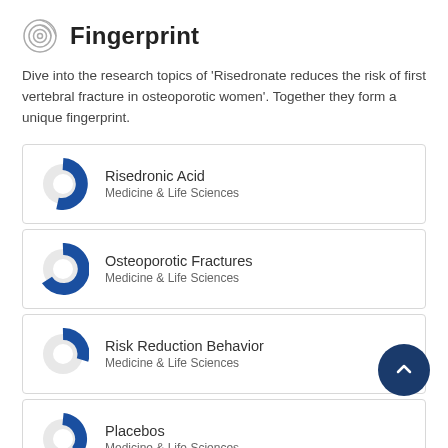Fingerprint
Dive into the research topics of 'Risedronate reduces the risk of first vertebral fracture in osteoporotic women'. Together they form a unique fingerprint.
[Figure (donut-chart): Donut chart ~90% filled, blue, for Risedronic Acid]
Risedronic Acid
Medicine & Life Sciences
[Figure (donut-chart): Donut chart ~60% filled, blue, for Osteoporotic Fractures]
Osteoporotic Fractures
Medicine & Life Sciences
[Figure (donut-chart): Donut chart ~45% filled, blue, for Risk Reduction Behavior]
Risk Reduction Behavior
Medicine & Life Sciences
[Figure (donut-chart): Donut chart ~30% filled, blue, for Placebos]
Placebos
Medicine & Life Sciences
Osteoporosis